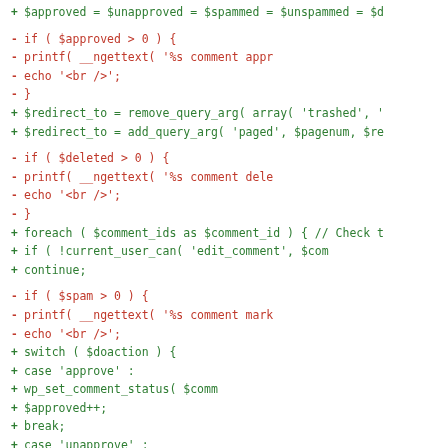[Figure (screenshot): Code diff view showing PHP code changes. Lines prefixed with '+' are in green (additions) and lines prefixed with '-' are in red (deletions). The code involves comment management functions including approved/unapproved/spammed/unspammed counters, redirect_to assignments, deleted/spam conditionals with printf and echo statements, a foreach loop over $comment_ids, a switch statement on $doaction with cases for approve, unapprove, and spam using wp_set_comment_status and wp_spam_comment.]